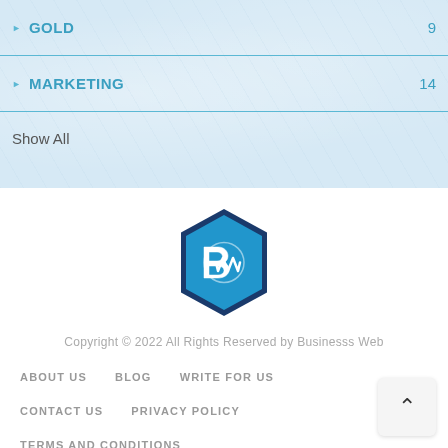GOLD  9
MARKETING  14
Show All
[Figure (logo): Businesss Web hexagon logo — dark navy blue hexagon outline with bright blue fill and white interlocked 'BW' letters inside]
Copyright © 2022 All Rights Reserved by Businesss Web
ABOUT US   BLOG   WRITE FOR US
CONTACT US   PRIVACY POLICY
TERMS AND CONDITIONS